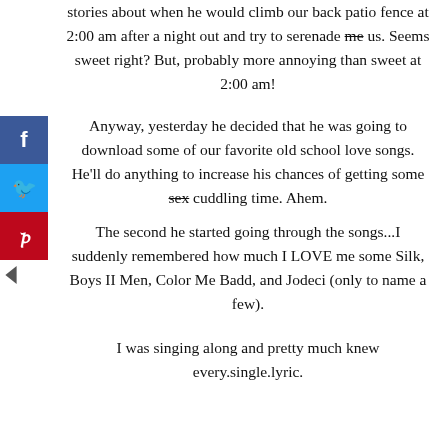stories about when he would climb our back patio fence at 2:00 am after a night out and try to serenade me us. Seems sweet right? But, probably more annoying than sweet at 2:00 am!
Anyway, yesterday he decided that he was going to download some of our favorite old school love songs. He'll do anything to increase his chances of getting some sex cuddling time. Ahem.
The second he started going through the songs...I suddenly remembered how much I LOVE me some Silk, Boys II Men, Color Me Badd, and Jodeci (only to name a few).
I was singing along and pretty much knew every.single.lyric.